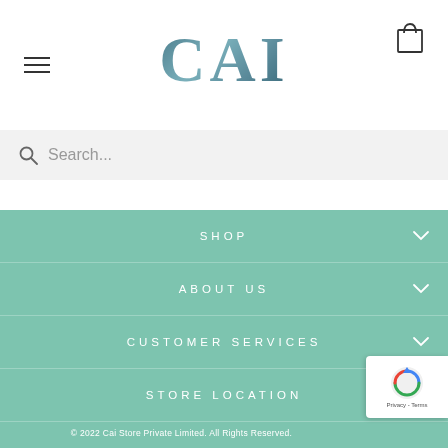CAI
Search...
SHOP
ABOUT US
CUSTOMER SERVICES
STORE LOCATION
© 2022 Cai Store Private Limited. All Rights Reserved.